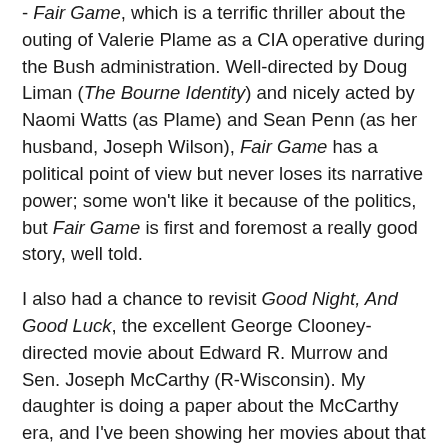- Fair Game, which is a terrific thriller about the outing of Valerie Plame as a CIA operative during the Bush administration. Well-directed by Doug Liman (The Bourne Identity) and nicely acted by Naomi Watts (as Plame) and Sean Penn (as her husband, Joseph Wilson), Fair Game has a political point of view but never loses its narrative power; some won't like it because of the politics, but Fair Game is first and foremost a really good story, well told.
I also had a chance to revisit Good Night, And Good Luck, the excellent George Clooney-directed movie about Edward R. Murrow and Sen. Joseph McCarthy (R-Wisconsin). My daughter is doing a paper about the McCarthy era, and I've been showing her movies about that time period, trying to explain the feelings of fear and paranoia that pervaded the culture and politics of the time. For her, it is hard to